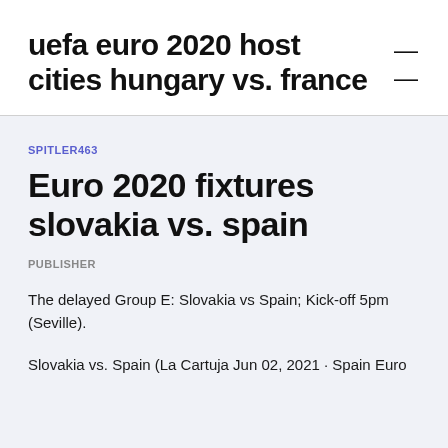uefa euro 2020 host cities hungary vs. france
SPITLER463
Euro 2020 fixtures slovakia vs. spain
PUBLISHER
The delayed Group E: Slovakia vs Spain; Kick-off 5pm (Seville).
Slovakia vs. Spain (La Cartuja Jun 02, 2021 · Spain Euro